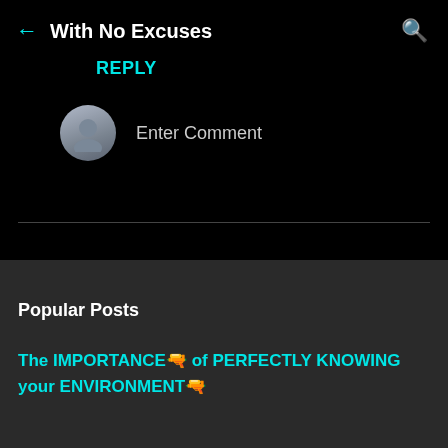← With No Excuses 🔍
REPLY
Enter Comment
Popular Posts
The IMPORTANCE🔫 of PERFECTLY KNOWING your ENVIRONMENT🔫